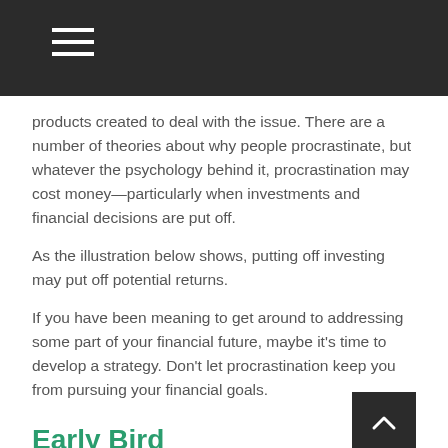products created to deal with the issue. There are a number of theories about why people procrastinate, but whatever the psychology behind it, procrastination may cost money—particularly when investments and financial decisions are put off.
As the illustration below shows, putting off investing may put off potential returns.
If you have been meaning to get around to addressing some part of your financial future, maybe it's time to develop a strategy. Don't let procrastination keep you from pursuing your financial goals.
Early Bird
Let's look at the case of Cindy and Charlie, who each